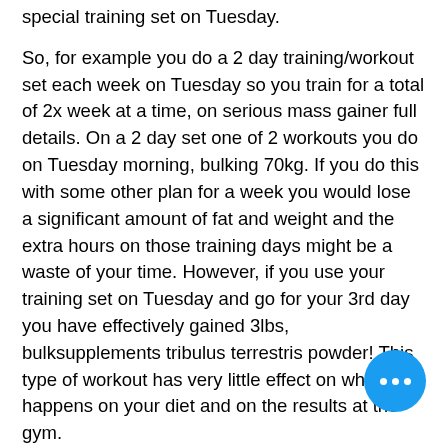special training set on Tuesday.
So, for example you do a 2 day training/workout set each week on Tuesday so you train for a total of 2x week at a time, on serious mass gainer full details. On a 2 day set one of 2 workouts you do on Tuesday morning, bulking 70kg. If you do this with some other plan for a week you would lose a significant amount of fat and weight and the extra hours on those training days might be a waste of your time. However, if you use your training set on Tuesday and go for your 3rd day you have effectively gained 3lbs, bulksupplements tribulus terrestris powder! This type of workout has very little effect on what happens on your diet and on the results at the gym.
The body is a very powerful thing, best